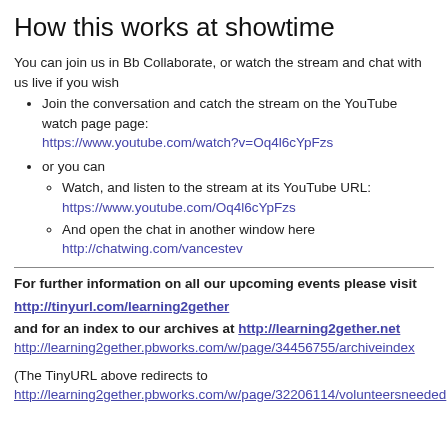How this works at showtime
You can join us in Bb Collaborate, or watch the stream and chat with us live if you wish
Join the conversation and catch the stream on the YouTube watch page page: https://www.youtube.com/watch?v=Oq4l6cYpFzs
or you can
Watch, and listen to the stream at its YouTube URL: https://www.youtube.com/Oq4l6cYpFzs
And open the chat in another window here http://chatwing.com/vancestev
For further information on all our upcoming events please visit
http://tinyurl.com/learning2gether
and for an index to our archives at http://learning2gether.net http://learning2gether.pbworks.com/w/page/34456755/archiveindex
(The TinyURL above redirects to http://learning2gether.pbworks.com/w/page/32206114/volunteersneeded